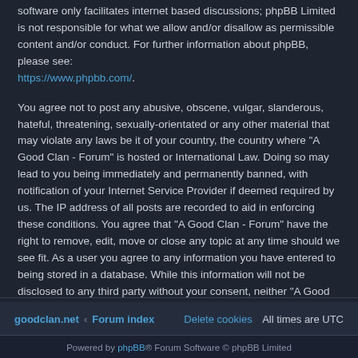software only facilitates internet based discussions; phpBB Limited is not responsible for what we allow and/or disallow as permissible content and/or conduct. For further information about phpBB, please see: https://www.phpbb.com/.
You agree not to post any abusive, obscene, vulgar, slanderous, hateful, threatening, sexually-orientated or any other material that may violate any laws be it of your country, the country where “A Good Clan - Forum” is hosted or International Law. Doing so may lead to you being immediately and permanently banned, with notification of your Internet Service Provider if deemed required by us. The IP address of all posts are recorded to aid in enforcing these conditions. You agree that “A Good Clan - Forum” have the right to remove, edit, move or close any topic at any time should we see fit. As a user you agree to any information you have entered to being stored in a database. While this information will not be disclosed to any third party without your consent, neither “A Good Clan - Forum” nor phpBB shall be held responsible for any hacking attempt that may lead to the data being compromised.
goodclan.net · Forum index | Delete cookies | All times are UTC | Powered by phpBB® Forum Software © phpBB Limited | Prosilver Dark Edition by Premium phpBB Styles | Privacy | Terms